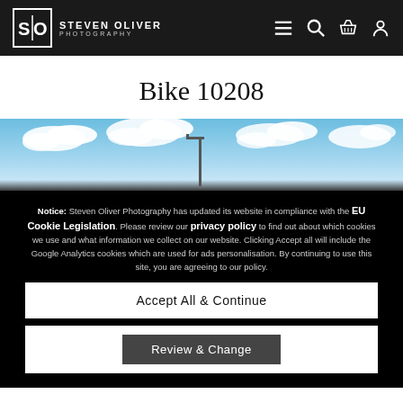Steven Oliver Photography – navigation bar with logo, menu, search, basket, account icons
Bike 10208
[Figure (photo): Partial photograph of a sky with clouds and a lamppost, obscured by a cookie consent overlay]
Notice: Steven Oliver Photography has updated its website in compliance with the EU Cookie Legislation. Please review our privacy policy to find out about which cookies we use and what information we collect on our website. Clicking Accept all will include the Google Analytics cookies which are used for ads personalisation. By continuing to use this site, you are agreeing to our policy.
Accept All & Continue
Review & Change